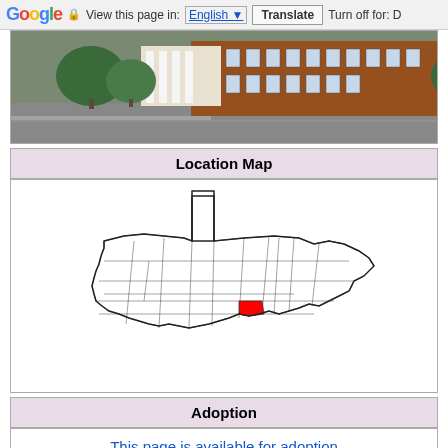Google  View this page in: English [▼]  Translate  Turn off for: D
[Figure (photo): Street-level photo of a historic brick building with white columns, surrounded by trees, in what appears to be a small American town.]
Location Map
[Figure (map): Map of West Virginia showing county outlines, with one county highlighted in red in the south-central region of the state.]
Adoption
This page is available for adoption